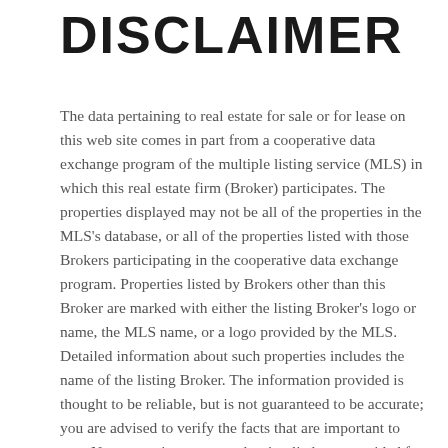DISCLAIMER
The data pertaining to real estate for sale or for lease on this web site comes in part from a cooperative data exchange program of the multiple listing service (MLS) in which this real estate firm (Broker) participates. The properties displayed may not be all of the properties in the MLS's database, or all of the properties listed with those Brokers participating in the cooperative data exchange program. Properties listed by Brokers other than this Broker are marked with either the listing Broker's logo or name, the MLS name, or a logo provided by the MLS. Detailed information about such properties includes the name of the listing Broker. The information provided is thought to be reliable, but is not guaranteed to be accurate; you are advised to verify the facts that are important to you. No warranties, expressed or implied, are provided for the data herein or for its use or interpretation by the user. The Florida Association of Realtors and its cooperating MLS's do not create, control, or review the property data displayed herein and take no responsibility for the content of such records. Federal law prohibits